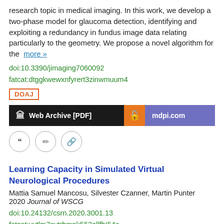research topic in medical imaging. In this work, we develop a two-phase model for glaucoma detection, identifying and exploiting a redundancy in fundus image data relating particularly to the geometry. We propose a novel algorithm for the  more »
doi:10.3390/jimaging7060092
fatcat:dtggkwewxnfyrert3zinwmuum4
DOAJ
Web Archive [PDF]
mdpi.com
Learning Capacity in Simulated Virtual Neurological Procedures
Mattia Samuel Mancosu, Silvester Czanner, Martin Punter
2020 Journal of WSCG
doi:10.24132/csrn.2020.3001.13
fatcat:uytlm7nytrhmnk553ellfhI54a
Web Archive [PDF]
Publisher / doi.org